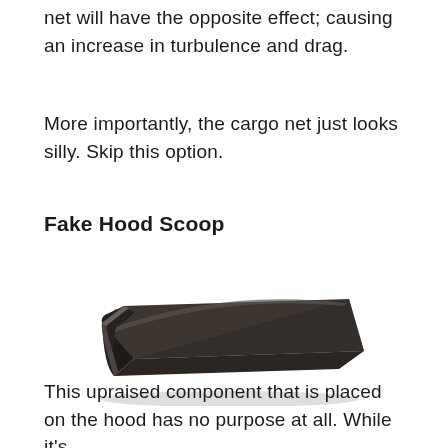net will have the opposite effect; causing an increase in turbulence and drag.
More importantly, the cargo net just looks silly. Skip this option.
Fake Hood Scoop
[Figure (photo): A black plastic fake hood scoop automotive accessory, shown in a 3/4 perspective view. It is a rounded rectangular raised component with a mesh vent on the front edge.]
This upraised component that is placed on the hood has no purpose at all. While it's